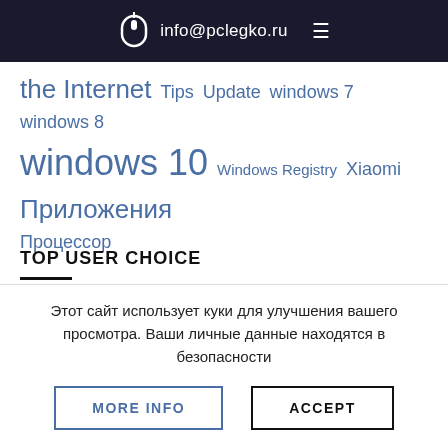info@pclegko.ru
the Internet  Tips  Update  windows 7  windows 8  windows 10  Windows Registry  Xiaomi  Приложения  Процессор
TOP USER CHOICE
[Figure (photo): Person holding a gold iPhone, lying on a dark floral surface with another phone nearby]
Этот сайт использует куки для улучшения вашего просмотра. Ваши личные данные находятся в безопасности